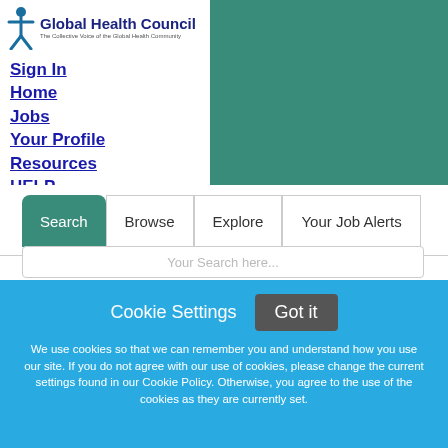[Figure (logo): Global Health Council logo with figure icon and tagline 'The Collective Voice of the Global Health Community']
Sign In
Home
Jobs
Your Profile
Resources
HELP
Employers Post Jobs
Search | Browse | Explore | Your Job Alerts
Cookie Settings   Got it
We use cookies so that we can remember you and understand how you use our site. If you do not agree with our use of cookies, please change the current settings found in our Cookie Policy. Otherwise, you agree to the use of the cookies as they are currently set.